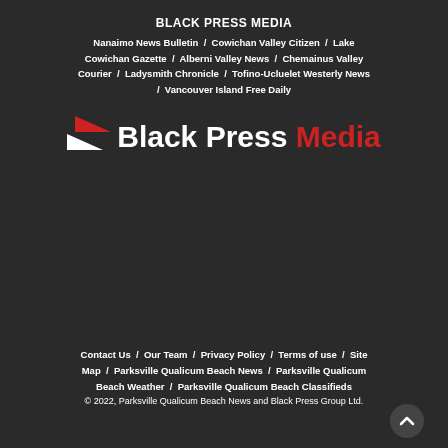BLACK PRESS MEDIA
Nanaimo News Bulletin / Cowichan Valley Citizen / Lake Cowichan Gazette / Alberni Valley News / Chemainus Valley Courier / Ladysmith Chronicle / Tofino-Ucluelet Westerly News / Vancouver Island Free Daily
[Figure (logo): Black Press Media logo with red arrow icon and 'Black Press Media' text where 'Media' is in red]
Contact Us / Our Team / Privacy Policy / Terms of use / Site Map / Parksville Qualicum Beach News / Parksville Qualicum Beach Weather / Parksville Qualicum Beach Classifieds
© 2022, Parksville Qualicum Beach News and Black Press Group Ltd.